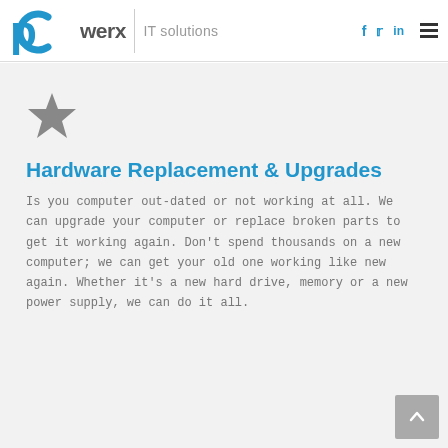pcwerx IT solutions
[Figure (logo): Gray five-pointed star icon]
Hardware Replacement & Upgrades
Is you computer out-dated or not working at all. We can upgrade your computer or replace broken parts to get it working again. Don't spend thousands on a new computer; we can get your old one working like new again. Whether it's a new hard drive, memory or a new power supply, we can do it all.